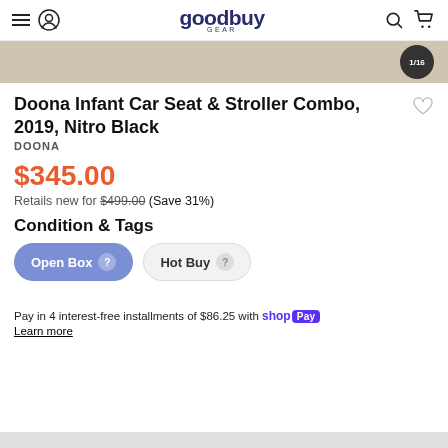goodbuy GEAR
[Figure (photo): Partial product image strip with dark circular badge overlay]
Doona Infant Car Seat & Stroller Combo, 2019, Nitro Black
DOONA
$345.00
Retails new for $499.00 (Save 31%)
Condition & Tags
Open Box
Hot Buy
Pay in 4 interest-free installments of $86.25 with Shop Pay
Learn more